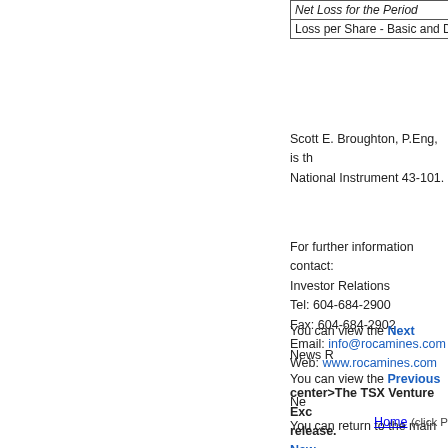| Net Loss for the Period |
| Loss per Share - Basic and Dil |
Scott E. Broughton, P.Eng, is th National Instrument 43-101.
For further information contact: Investor Relations Tel: 604-684-2900 Fax: 604-684-2902 Email: info@rocamines.com Web: www.rocamines.com
center>The TSX Venture Exchange has not reviewed and does not accept responsibility for the adequacy or accuracy of this news release.
You can view the Next News R
You can view the Previous Ne
You can return to the main New
Home (click P